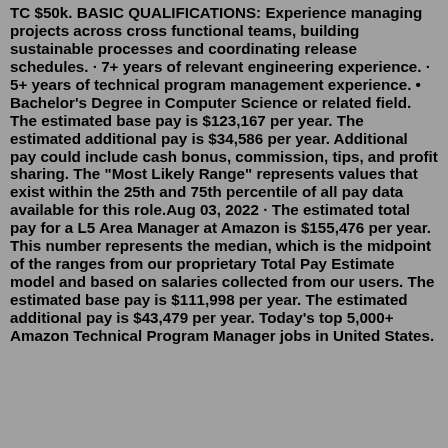TC $50k. BASIC QUALIFICATIONS: Experience managing projects across cross functional teams, building sustainable processes and coordinating release schedules. · 7+ years of relevant engineering experience. · 5+ years of technical program management experience. • Bachelor's Degree in Computer Science or related field. The estimated base pay is $123,167 per year. The estimated additional pay is $34,586 per year. Additional pay could include cash bonus, commission, tips, and profit sharing. The "Most Likely Range" represents values that exist within the 25th and 75th percentile of all pay data available for this role.Aug 03, 2022 · The estimated total pay for a L5 Area Manager at Amazon is $155,476 per year. This number represents the median, which is the midpoint of the ranges from our proprietary Total Pay Estimate model and based on salaries collected from our users. The estimated base pay is $111,998 per year. The estimated additional pay is $43,479 per year. Today's top 5,000+ Amazon Technical Program Manager jobs in United States.